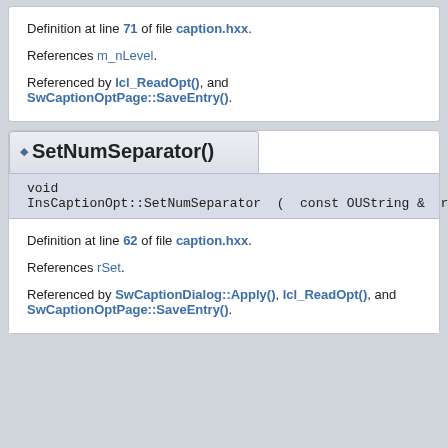Definition at line 71 of file caption.hxx.
References m_nLevel.
Referenced by lcl_ReadOpt(), and SwCaptionOptPage::SaveEntry().
SetNumSeparator()
void
InsCaptionOpt::SetNumSeparator ( const OUString & rSet ) inline
Definition at line 62 of file caption.hxx.
References rSet.
Referenced by SwCaptionDialog::Apply(), lcl_ReadOpt(), and SwCaptionOptPage::SaveEntry().